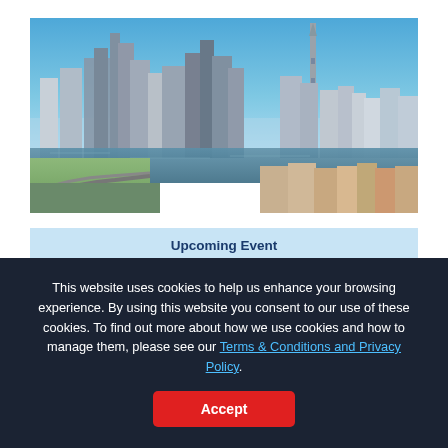[Figure (photo): Aerial panoramic view of a city skyline with skyscrapers, a river, highway, and a tall communication tower on the right, under a clear blue sky.]
Upcoming Event
Join us on Thursday, March 25th at 9:00 am EDT for our
This website uses cookies to help us enhance your browsing experience. By using this website you consent to our use of these cookies. To find out more about how we use cookies and how to manage them, please see our Terms & Conditions and Privacy Policy.
Accept